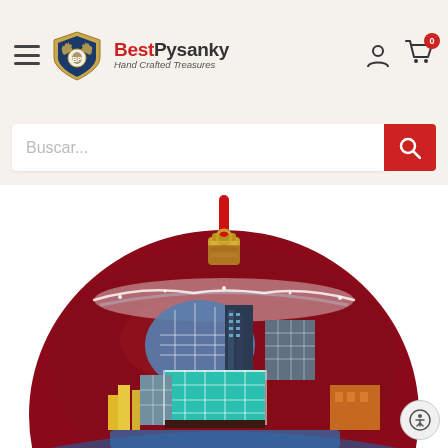BestPysanky Hand Crafted Treasures - Navigation header with hamburger menu, logo, account icon, and cart icon with badge 0
Buscar...
[Figure (photo): A decorative glass Christmas ornament ball in deep red/maroon color with a gold cap and red ribbon hanger. The ornament is painted with a city skyline featuring skyscrapers, a stadium, and urban buildings in shades of blue, teal, gray, yellow, and orange with glittery white snow/frost details at the top.]